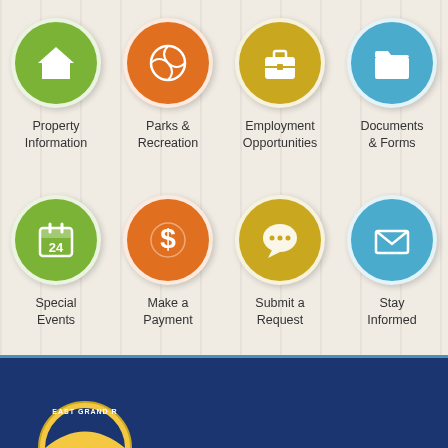[Figure (infographic): Navigation icon grid with 8 circular icons in 2 rows of 4. Row 1: green house icon (Property Information), orange basketball icon (Parks & Recreation), gold briefcase icon (Employment Opportunities), blue folder icon (Documents & Forms). Row 2: green calendar icon (Special Events), orange dollar sign icon (Make a Payment), gold speech bubble icon (Submit a Request), blue envelope icon (Stay Informed).]
Property Information
Parks & Recreation
Employment Opportunities
Documents & Forms
Special Events
Make a Payment
Submit a Request
Stay Informed
[Figure (logo): East Grand Rapids city seal/logo partially visible at bottom left on dark navy blue background]